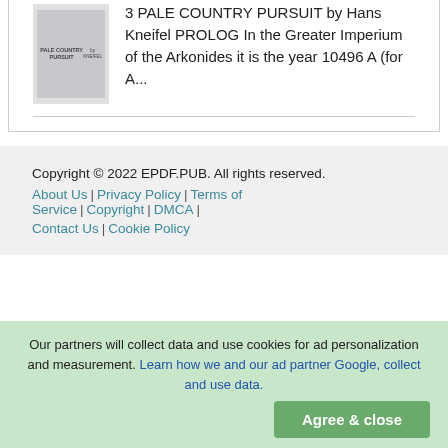[Figure (illustration): Book cover thumbnail for 'Pale Country Pursuit' by Hans Kneifel, small grayscale image with title text]
3 PALE COUNTRY PURSUIT by Hans Kneifel PROLOG In the Greater Imperium of the Arkonides it is the year 10496 A (for A...
Copyright © 2022 EPDF.PUB. All rights reserved.
About Us | Privacy Policy | Terms of Service | Copyright | DMCA | Contact Us | Cookie Policy
Our partners will collect data and use cookies for ad personalization and measurement. Learn how we and our ad partner Google, collect and use data.
Agree & close